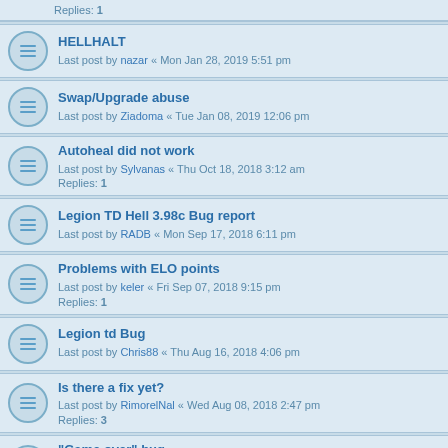Replies: 1
HELLHALT
Last post by nazar « Mon Jan 28, 2019 5:51 pm
Swap/Upgrade abuse
Last post by Ziadoma « Tue Jan 08, 2019 12:06 pm
Autoheal did not work
Last post by Sylvanas « Thu Oct 18, 2018 3:12 am
Replies: 1
Legion TD Hell 3.98c Bug report
Last post by RADB « Mon Sep 17, 2018 6:11 pm
Problems with ELO points
Last post by keler « Fri Sep 07, 2018 9:15 pm
Replies: 1
Legion td Bug
Last post by Chris88 « Thu Aug 16, 2018 4:06 pm
Is there a fix yet?
Last post by RimorelNal « Wed Aug 08, 2018 2:47 pm
Replies: 3
"Game over" bug
Last post by Chris88 « Thu Aug 02, 2018 6:56 am
Replies: 4
New hellhalt version 5.x.x
Last post by keler « Tue Jul 17, 2018 12:08 pm
2 Bugs
Last post by Qerx « Sat Jul 07, 2018 1:26 am
(partial row cut off at bottom)